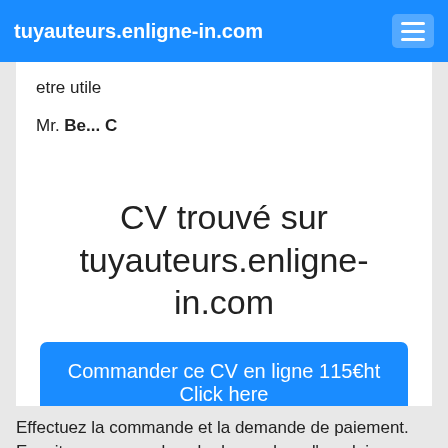tuyauteurs.enligne-in.com
etre utile
Mr. Be... C
CV trouvé sur tuyauteurs.enligne-in.com
Commander ce CV en ligne 115€ht Click here
Effectuez la commande et la demande de paiement. Ensuite, nous appelons le demandeur d'emploi pour